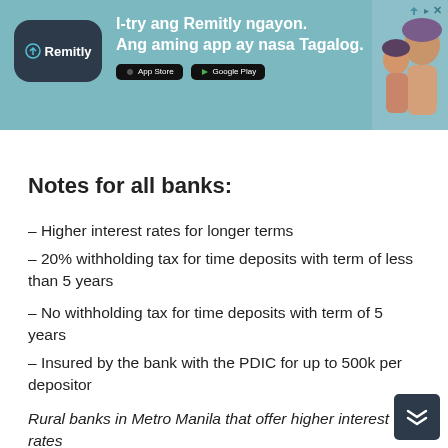[Figure (screenshot): Remitly advertisement banner with logo, Tagalog text 'I-try ang Remitly ngayon. Ang aming app ay nasa Tagalog.', App Store and Google Play buttons, and a photo of smiling people on teal/blue background.]
Notes for all banks:
– Higher interest rates for longer terms
– 20% withholding tax for time deposits with term of less than 5 years
– No withholding tax for time deposits with term of 5 years
– Insured by the bank with the PDIC for up to 500k per depositor
Rural banks in Metro Manila that offer higher interest rates
Highest Interest Rates for Time Deposits in the Philippines